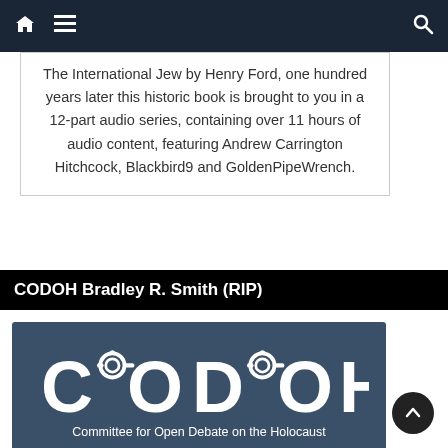Navigation bar with home, menu, and search icons
The International Jew by Henry Ford, one hundred years later this historic book is brought to you in a 12-part audio series, containing over 11 hours of audio content, featuring Andrew Carrington Hitchcock, Blackbird9 and GoldenPipeWrench.
CODOH Bradley R. Smith (RIP)
[Figure (logo): CODOH logo on dark blue background with handcuff imagery integrated into the letters, with text 'Committee for Open Debate on the Holocaust' below]